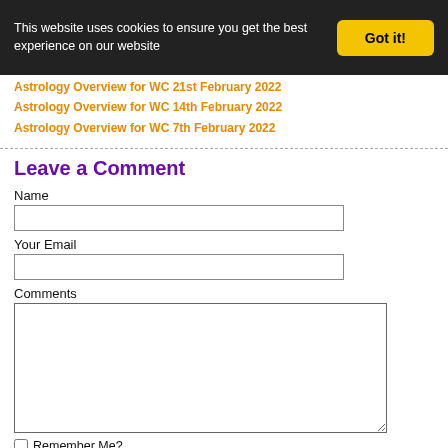This website uses cookies to ensure you get the best experience on our website
Got it!
Astrology Overview for WC 21st February 2022
Astrology Overview for WC 14th February 2022
Astrology Overview for WC 7th February 2022
Leave a Comment
Name
Your Email
Comments
Remember Me?
Join article newsletter
Hide email from author